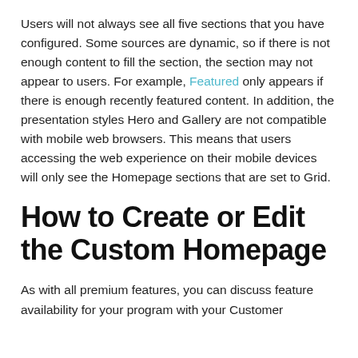Users will not always see all five sections that you have configured. Some sources are dynamic, so if there is not enough content to fill the section, the section may not appear to users. For example, Featured only appears if there is enough recently featured content. In addition, the presentation styles Hero and Gallery are not compatible with mobile web browsers. This means that users accessing the web experience on their mobile devices will only see the Homepage sections that are set to Grid.
How to Create or Edit the Custom Homepage
As with all premium features, you can discuss feature availability for your program with your Customer